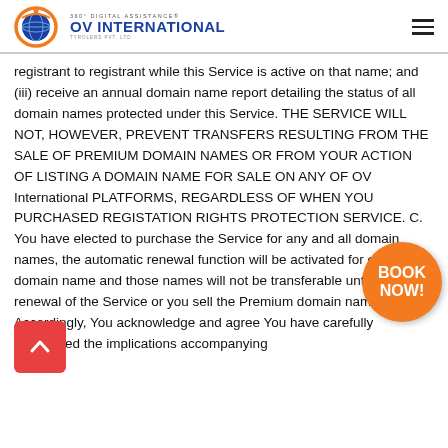OV INTERNATIONAL
registrant to registrant while this Service is active on that name; and (iii) receive an annual domain name report detailing the status of all domain names protected under this Service. THE SERVICE WILL NOT, HOWEVER, PREVENT TRANSFERS RESULTING FROM THE SALE OF PREMIUM DOMAIN NAMES OR FROM YOUR ACTION OF LISTING A DOMAIN NAME FOR SALE ON ANY OF OV International PLATFORMS, REGARDLESS OF WHEN YOU PURCHASED REGISTATION RIGHTS PROTECTION SERVICE. C. You have elected to purchase the Service for any and all domain names, the automatic renewal function will be activated for each domain name and those names will not be transferable until the renewal of the Service or you sell the Premium domain name. Accordingly, You acknowledge and agree You have carefully considered the implications accompanying